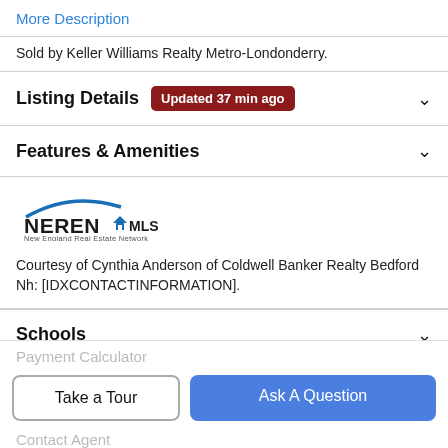More Description
Sold by Keller Williams Realty Metro-Londonderry.
Listing Details  Updated 37 min ago
Features & Amenities
[Figure (logo): NEREN MLS logo - New England Real Estate Network]
Courtesy of Cynthia Anderson of Coldwell Banker Realty Bedford Nh: [IDXCONTACTINFORMATION].
Schools
Payment Calculator
Take a Tour
Ask A Question
Contact Agent